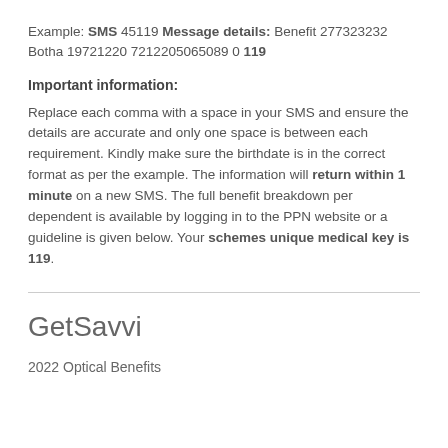Example: SMS 45119 Message details: Benefit 277323232 Botha 19721220 7212205065089 0 119
Important information:
Replace each comma with a space in your SMS and ensure the details are accurate and only one space is between each requirement. Kindly make sure the birthdate is in the correct format as per the example. The information will return within 1 minute on a new SMS. The full benefit breakdown per dependent is available by logging in to the PPN website or a guideline is given below. Your schemes unique medical key is 119.
GetSavvi
2022 Optical Benefits